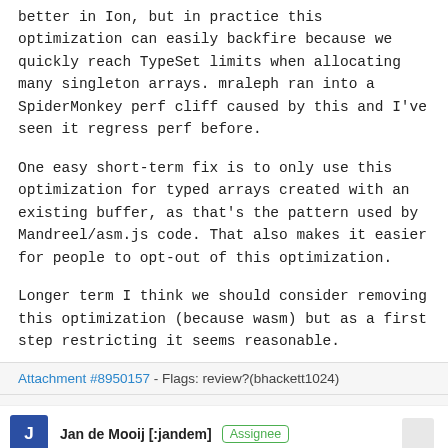better in Ion, but in practice this optimization can easily backfire because we quickly reach TypeSet limits when allocating many singleton arrays. mraleph ran into a SpiderMonkey perf cliff caused by this and I've seen it regress perf before.
One easy short-term fix is to only use this optimization for typed arrays created with an existing buffer, as that's the pattern used by Mandreel/asm.js code. That also makes it easier for people to opt-out of this optimization.
Longer term I think we should consider removing this optimization (because wasm) but as a first step restricting it seems reasonable.
Attachment #8950157 - Flags: review?(bhackett1024)
Jan de Mooij [:jandem] Assignee